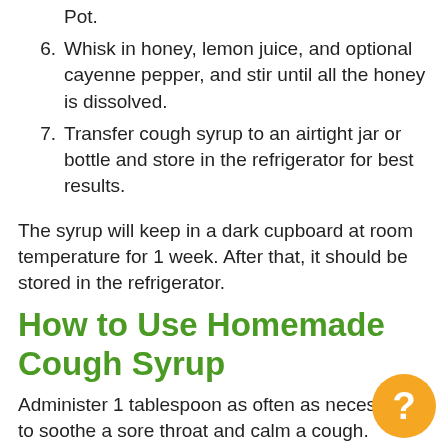Pot.
6. Whisk in honey, lemon juice, and optional cayenne pepper, and stir until all the honey is dissolved.
7. Transfer cough syrup to an airtight jar or bottle and store in the refrigerator for best results.
The syrup will keep in a dark cupboard at room temperature for 1 week. After that, it should be stored in the refrigerator.
How to Use Homemade Cough Syrup
Administer 1 tablespoon as often as necessary to soothe a sore throat and calm a cough. Because this recipe is made with real food, you